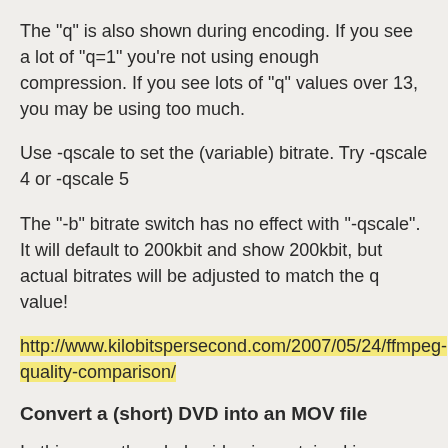The "q" is also shown during encoding. If you see a lot of "q=1" you're not using enough compression. If you see lots of "q" values over 13, you may be using too much.
Use -qscale to set the (variable) bitrate. Try -qscale 4 or -qscale 5
The "-b" bitrate switch has no effect with "-qscale". It will default to 200kbit and show 200kbit, but actual bitrates will be adjusted to match the q value!
http://www.kilobitspersecond.com/2007/05/24/ffmpeg-quality-comparison/
Convert a (short) DVD into an MOV file
In this case, the whole video is contained in VTS_01_1.VOB